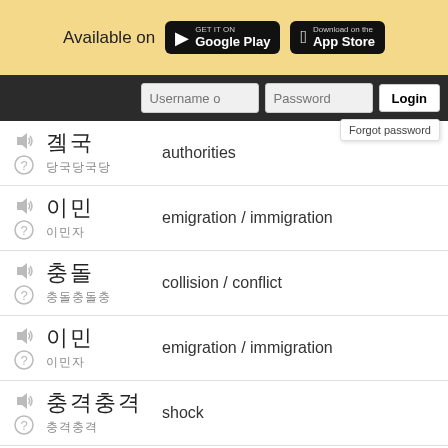[Figure (screenshot): App store badges: Available on Google Play and App Store]
[Figure (screenshot): Login bar with Username, Password fields and Login button, Forgot password dropdown]
authorities
emigration / immigration
collision / conflict
emigration / immigration
shock
Macedonia